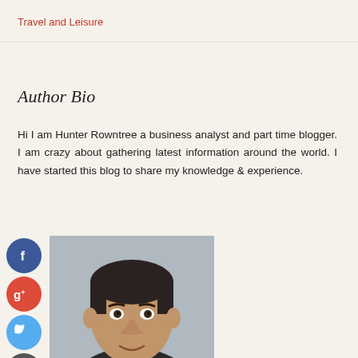Travel and Leisure
Author Bio
Hi I am Hunter Rowntree a business analyst and part time blogger. I am crazy about gathering latest information around the world. I have started this blog to share my knowledge & experience.
[Figure (photo): Author photo of Hunter Rowntree, a middle-aged man in a suit, with social media icons (Facebook, Google+, Twitter, Plus) overlaid on the left side of the image.]